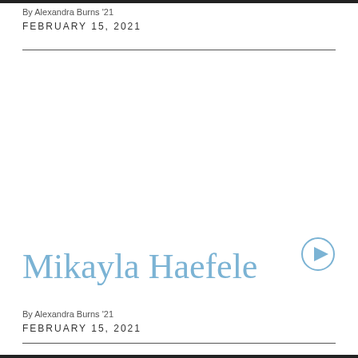By Alexandra Burns '21
FEBRUARY 15, 2021
Mikayla Haefele
[Figure (other): Play button icon — circle with right-pointing triangle inside, in blue-gray color]
By Alexandra Burns '21
FEBRUARY 15, 2021